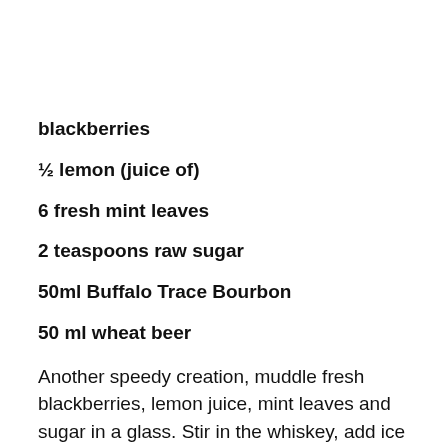blackberries
½ lemon (juice of)
6 fresh mint leaves
2 teaspoons raw sugar
50ml Buffalo Trace Bourbon
50 ml wheat beer
Another speedy creation, muddle fresh blackberries, lemon juice, mint leaves and sugar in a glass. Stir in the whiskey, add ice and top with wheat beer.